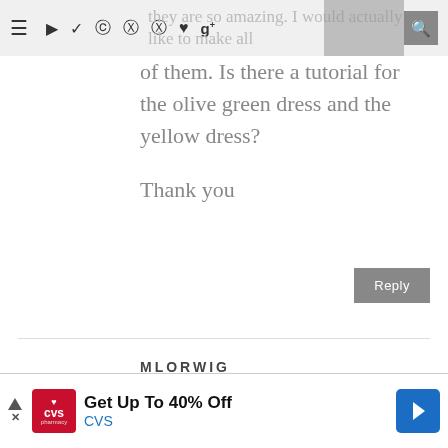≡ [social icons] they are so amazing. I would actually like to make all of them. Is there a tutorial for the olive green dress and the yellow dress?
they are so amazing. I would actually like to make all of them. Is there a tutorial for the olive green dress and the yellow dress?

Thank you
Reply
MLORWIG
September 15, 2012 at 8:13 PM
I loved the tutorial on this dress
[Figure (other): CVS Pharmacy advertisement banner: Get Up To 40% Off CVS]